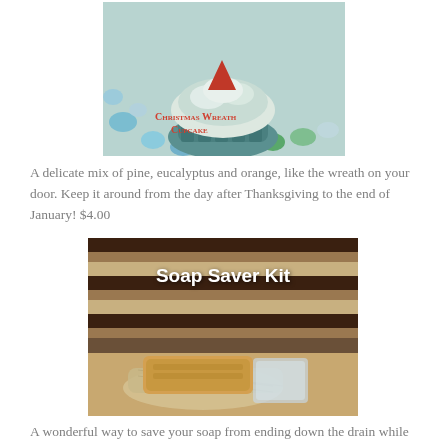[Figure (photo): Photo of a Christmas Wreath Cupcake soap — a teal/green cupcake-shaped soap with a red pyramid on top, surrounded by colorful glass gems. Text overlay reads 'Christmas Wreath Cupcake' in red small-caps.]
A delicate mix of pine, eucalyptus and orange, like the wreath on your door. Keep it around from the day after Thanksgiving to the end of January! $4.00
[Figure (photo): Photo of a Soap Saver Kit — a bar of tan/gold soap sitting on a loofah/mesh bag, with a clear soap saver bag nearby, against a tile backsplash background. Text overlay reads 'Soap Saver Kit' in white bold.]
A wonderful way to save your soap from ending down the drain while enjoying a soft